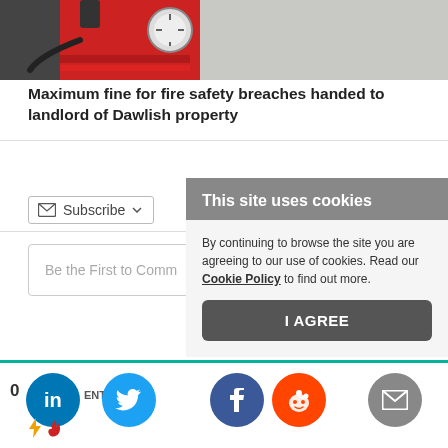[Figure (photo): Close-up photo of a red fire extinguisher with gauge visible]
Maximum fine for fire safety breaches handed to landlord of Dawlish property
Subscribe
Be the First to Comment
This site uses cookies
By continuing to browse the site you are agreeing to our use of cookies. Read our Cookie Policy to find out more.
I AGREE
0 COMMENTS